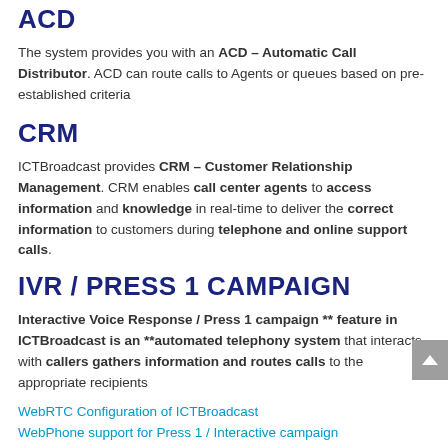ACD
The system provides you with an ACD – Automatic Call Distributor. ACD can route calls to Agents or queues based on pre-established criteria
CRM
ICTBroadcast provides CRM – Customer Relationship Management. CRM enables call center agents to access information and knowledge in real-time to deliver the correct information to customers during telephone and online support calls.
IVR / PRESS 1 CAMPAIGN
Interactive Voice Response / Press 1 campaign ** feature in ICTBroadcast is an **automated telephony system that interacts with callers gathers information and routes calls to the appropriate recipients
WebRTC Configuration of ICTBroadcast
WebPhone support for Press 1 / Interactive campaign